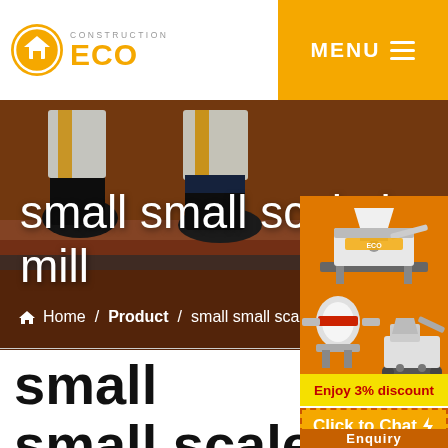CONSTRUCTION ECO   MENU
[Figure (photo): Worker feet and legs in safety boots and orange/white work clothes standing on orange/brown ground, hero banner background]
small small scale iron ore ball mill
Home / Product / small small scal…
[Figure (photo): Orange sidebar panel with two construction machine images: a crusher/VSI machine on top, and a mobile crushing plant on bottom]
Enjoy 3% discount
Click to Chat
Enquiry
small small scale iron ore ball mill